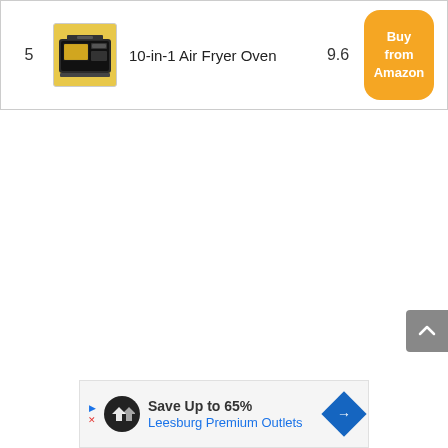| # | Image | Product | Score | Link |
| --- | --- | --- | --- | --- |
| 5 | [image] | 10-in-1 Air Fryer Oven | 9.6 | Buy from Amazon |
[Figure (screenshot): Gray scroll-to-top button with upward chevron arrow on right side]
[Figure (screenshot): Advertisement banner: Save Up to 65% Leesburg Premium Outlets with logo and navigation arrow]